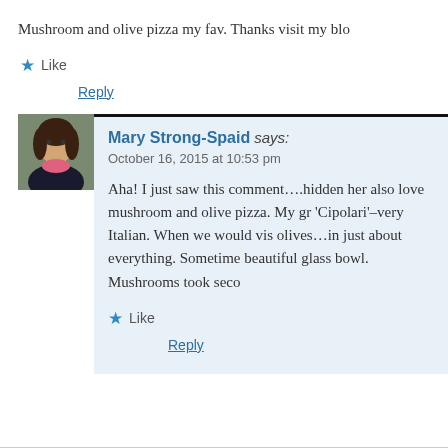Mushroom and olive pizza my fav. Thanks visit my blo
★ Like
Reply
[Figure (photo): Avatar photo of Mary Strong-Spaid, a woman with dark hair wearing a pink scarf and dark jacket]
Mary Strong-Spaid says:
October 16, 2015 at 10:53 pm
Aha! I just saw this comment….hidden her also love mushroom and olive pizza. My gr 'Cipolari'–very Italian. When we would vis olives…in just about everything. Sometime beautiful glass bowl. Mushrooms took seco
★ Like
Reply